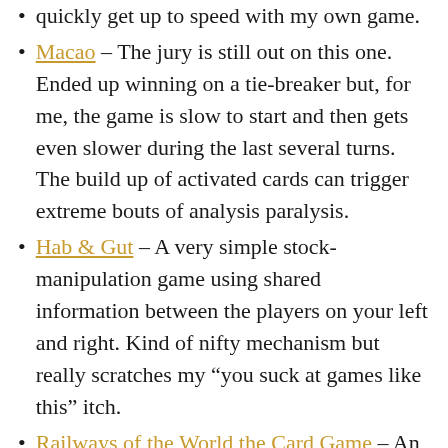quickly get up to speed with my own game.
Macao – The jury is still out on this one. Ended up winning on a tie-breaker but, for me, the game is slow to start and then gets even slower during the last several turns. The build up of activated cards can trigger extreme bouts of analysis paralysis.
Hab & Gut – A very simple stock-manipulation game using shared information between the players on your left and right. Kind of nifty mechanism but really scratches my “you suck at games like this” itch.
Railways of the World the Card Game – An okay set collection and route building game with hints of Railways of the World with a